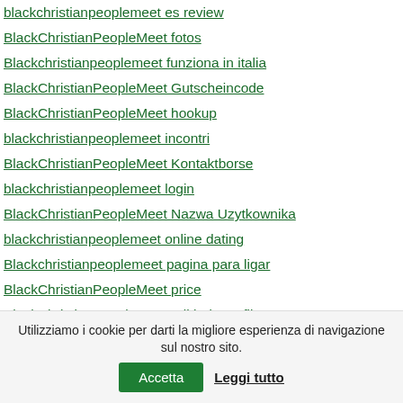blackchristianpeoplemeet es review
BlackChristianPeopleMeet fotos
Blackchristianpeoplemeet funziona in italia
BlackChristianPeopleMeet Gutscheincode
BlackChristianPeopleMeet hookup
blackchristianpeoplemeet incontri
BlackChristianPeopleMeet Kontaktborse
blackchristianpeoplemeet login
BlackChristianPeopleMeet Nazwa Uzytkownika
blackchristianpeoplemeet online dating
Blackchristianpeoplemeet pagina para ligar
BlackChristianPeopleMeet price
BlackChristianPeopleMeet priklady profilu
blackchristianpeoplemeet randki
BlackChristianPeopleMeet recenze
Utilizziamo i cookie per darti la migliore esperienza di navigazione sul nostro sito.
Accetta
Leggi tutto